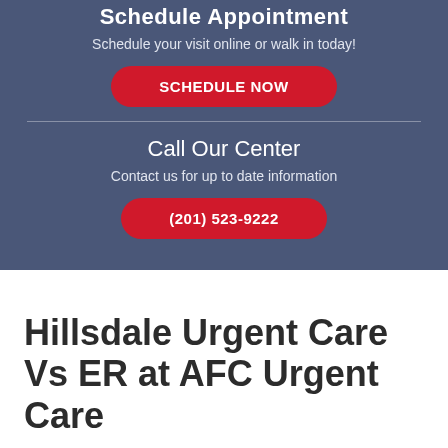Schedule Appointment
Schedule your visit online or walk in today!
SCHEDULE NOW
Call Our Center
Contact us for up to date information
(201) 523-9222
Hillsdale Urgent Care Vs ER at AFC Urgent Care